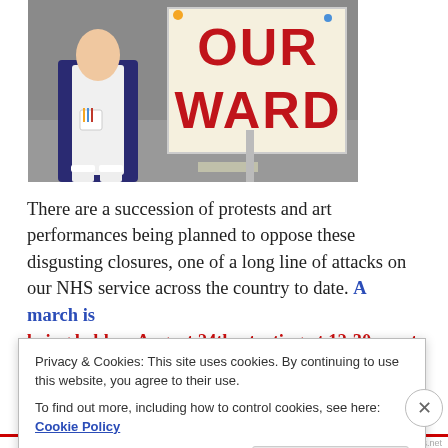[Figure (photo): A person in a nurse uniform (white apron over dark blue dress) holding a protest sign that reads 'OUR WARD' in large red letters, standing on a street.]
There are a succession of protests and art performances being planned to oppose these disgusting closures, one of a long line of attacks on our NHS service across the country to date. A march is being held on August 24th, starting at 12:30pm at
Privacy & Cookies: This site uses cookies. By continuing to use this website, you agree to their use.
To find out more, including how to control cookies, see here: Cookie Policy
Close and accept